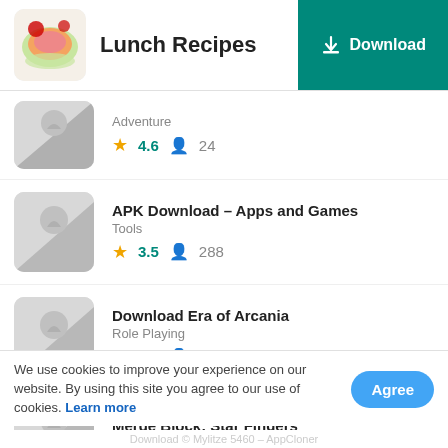Lunch Recipes | Download
Adventure | 4.6 | 24
APK Download – Apps and Games | Tools | 3.5 | 288
Download Era of Arcania | Role Playing | 3.0 | 18
Merge Block: Star Finders | Puzzle
We use cookies to improve your experience on our website. By using this site you agree to our use of cookies. Learn more
Download © Mylitze 5460 – AppCloner